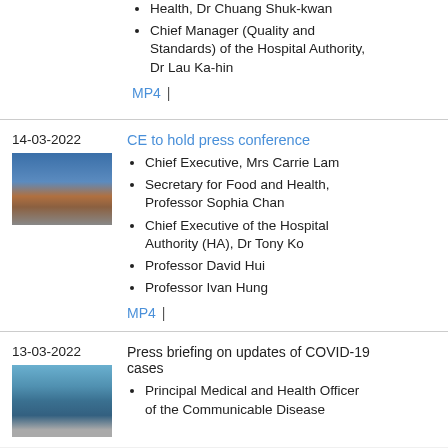Health, Dr Chuang Shuk-kwan
Chief Manager (Quality and Standards) of the Hospital Authority, Dr Lau Ka-hin
MP4 |
14-03-2022
[Figure (photo): Photo of Mrs Carrie Lam at press conference]
CE to hold press conference
Chief Executive, Mrs Carrie Lam
Secretary for Food and Health, Professor Sophia Chan
Chief Executive of the Hospital Authority (HA), Dr Tony Ko
Professor David Hui
Professor Ivan Hung
MP4 |
13-03-2022
[Figure (photo): Photo of medical officer at press briefing]
Press briefing on updates of COVID-19 cases
Principal Medical and Health Officer of the Communicable Disease